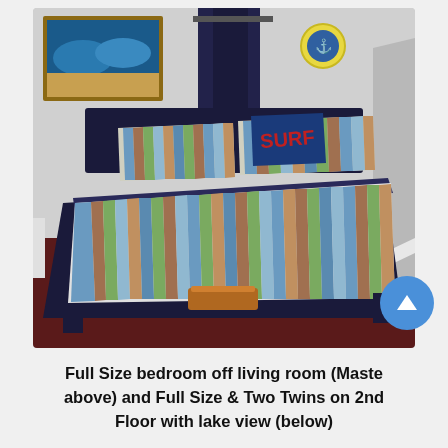[Figure (photo): A bedroom with a full-size bed covered in a colorful striped bedspread (blues, greens, oranges), a blue decorative pillow, dark navy bed frame, dark red/maroon carpet, gray walls, dark curtains, a framed beach/wave painting on the wall, and a nautical anchor decoration on the wall.]
Full Size bedroom off living room (Master above) and Full Size & Two Twins on 2nd Floor with lake view (below)